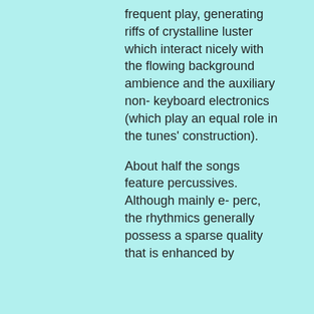frequent play, generating riffs of crystalline luster which interact nicely with the flowing background ambience and the auxiliary non-keyboard electronics (which play an equal role in the tunes' construction).
About half the songs feature percussives. Although mainly e-perc, the rhythmics generally possess a sparse quality that is enhanced by